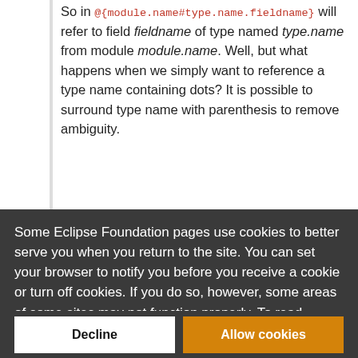So in @{module.name#type.name.fieldname} will refer to field fieldname of type named type.name from module module.name. Well, but what happens when we simply want to reference a type name containing dots? It is possible to surround type name with parenthesis to remove ambiguity.
Some Eclipse Foundation pages use cookies to better serve you when you return to the site. You can set your browser to notify you before you receive a cookie or turn off cookies. If you do so, however, some areas of some sites may not function properly. To read Eclipse Foundation Privacy Policy click here.
Decline
Allow cookies
description is parsed separately, you cannot reuse an